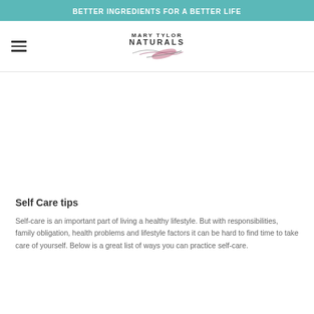BETTER INGREDIENTS FOR A BETTER LIFE
[Figure (logo): Mary Tylor Naturals logo with feather illustration]
[Figure (photo): Large white/blank image area]
Self Care tips
Self-care is an important part of living a healthy lifestyle. But with responsibilities, family obligation, health problems and lifestyle factors it can be hard to find time to take care of yourself. Below is a great list of ways you can practice self-care.